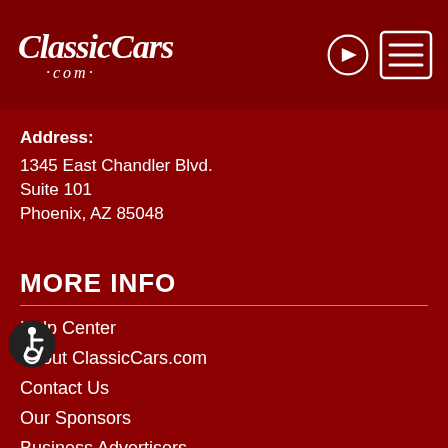ClassicCars.com
Address:
1345 East Chandler Blvd.
Suite 101
Phoenix, AZ 85048
MORE INFO
Help Center
About ClassicCars.com
Contact Us
Our Sponsors
Business Advertisers
Career Opportunities